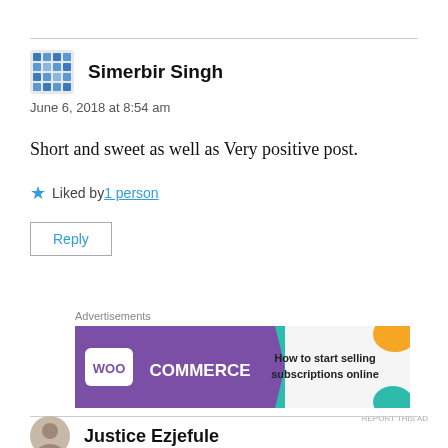Simerbir Singh
June 6, 2018 at 8:54 am
Short and sweet as well as Very positive post.
Liked by 1 person
Reply
Advertisements
[Figure (other): WooCommerce advertisement banner: purple background with WooCommerce logo on left, teal arrow shape, text 'How to start selling subscriptions online', orange and blue decorative shapes on right]
REPORT THIS AD
Justice Ezjefule